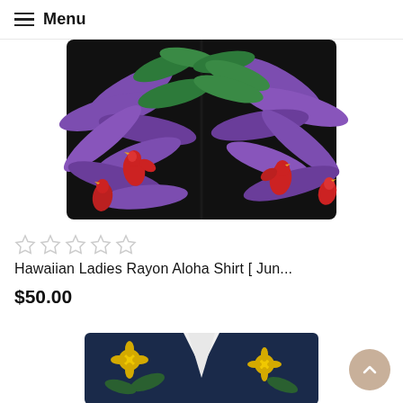Menu
[Figure (photo): Hawaiian ladies shirt with black background featuring purple palm trees and red parrots pattern, shown folded/flat lay]
[Figure (other): Five empty star rating icons (no fill, light gray)]
Hawaiian Ladies Rayon Aloha Shirt [ Jun...
$50.00
[Figure (photo): Bottom of page partially showing another Hawaiian shirt with navy background and tropical flowers pattern]